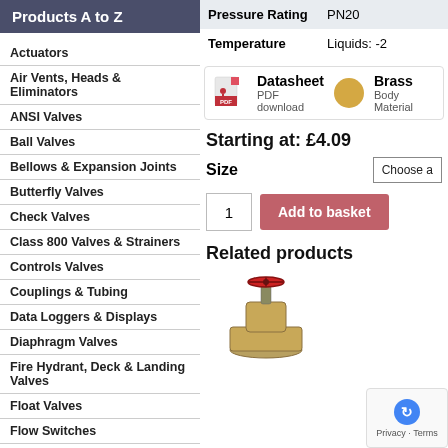Products A to Z
Actuators
Air Vents, Heads & Eliminators
ANSI Valves
Ball Valves
Bellows & Expansion Joints
Butterfly Valves
Check Valves
Class 800 Valves & Strainers
Controls Valves
Couplings & Tubing
Data Loggers & Displays
Diaphragm Valves
Fire Hydrant, Deck & Landing Valves
Float Valves
Flow Switches
Frese Valves
Gas Meters
Gas Valves
| Property | Value |
| --- | --- |
| Pressure Rating | PN20 |
| Temperature | Liquids: -2 |
Datasheet PDF download | Brass Body Material
Starting at: £4.09
Size
1
Add to basket
Related products
[Figure (photo): Brass globe valve with red handwheel on a flange fitting]